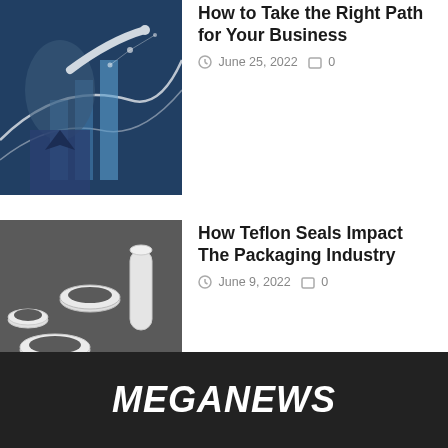[Figure (photo): Person pointing at a business chart/graph with data visualization in background]
How to Take the Right Path for Your Business
June 25, 2022  0
[Figure (photo): Various white Teflon seals and rings on dark background]
How Teflon Seals Impact The Packaging Industry
June 9, 2022  0
View all Business →
MEGANEWS